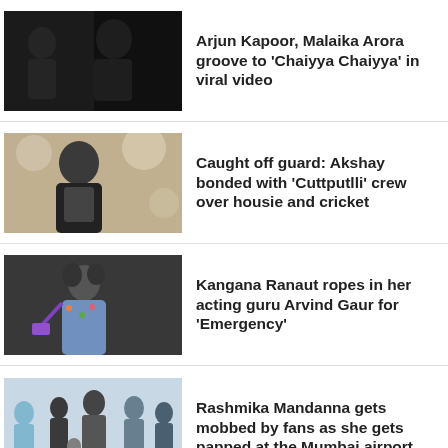[Figure (photo): Arjun Kapoor and Malaika Arora inside a car at night]
Arjun Kapoor, Malaika Arora groove to 'Chaiyya Chaiyya' in viral video
[Figure (photo): Akshay Kumar at an event with glittery background]
Caught off guard: Akshay bonded with 'Cuttputlli' crew over housie and cricket
[Figure (photo): Kangana Ranaut at airport in floral outfit]
Kangana Ranaut ropes in her acting guru Arvind Gaur for 'Emergency'
[Figure (photo): Rashmika Mandanna mobbed by fans at Mumbai airport]
Rashmika Mandanna gets mobbed by fans as she gets papped at the Mumbai airport